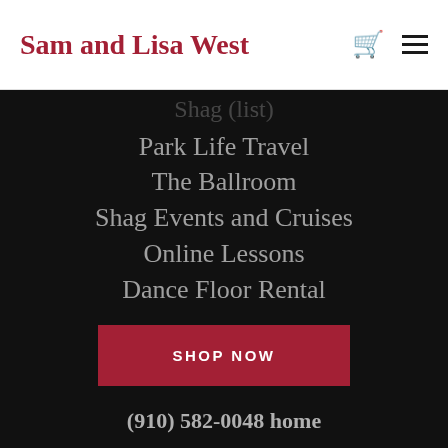Sam and Lisa West
Shag (faded/cut off)
Park Life Travel
The Ballroom
Shag Events and Cruises
Online Lessons
Dance Floor Rental
SHOP NOW
(910) 582-0048 home